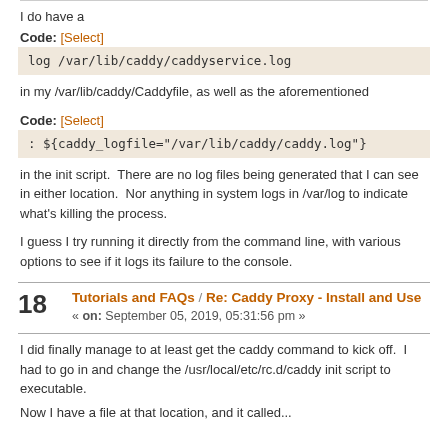I do have a
Code: [Select]
log /var/lib/caddy/caddyservice.log
in my /var/lib/caddy/Caddyfile, as well as the aforementioned
Code: [Select]
: ${caddy_logfile="/var/lib/caddy/caddy.log"}
in the init script.  There are no log files being generated that I can see in either location.  Nor anything in system logs in /var/log to indicate what's killing the process.
I guess I try running it directly from the command line, with various options to see if it logs its failure to the console.
18 Tutorials and FAQs / Re: Caddy Proxy - Install and Use
« on: September 05, 2019, 05:31:56 pm »
I did finally manage to at least get the caddy command to kick off.  I had to go in and change the /usr/local/etc/rc.d/caddy init script to executable.
Now I have a file at that location, and it called...